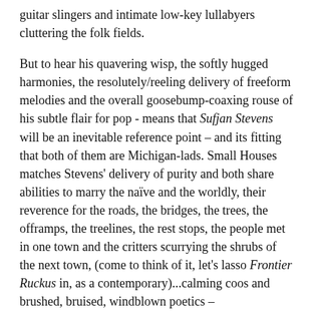guitar slingers and intimate low-key lullabyers cluttering the folk fields.
But to hear his quavering wisp, the softly hugged harmonies, the resolutely/reeling delivery of freeform melodies and the overall goosebump-coaxing rouse of his subtle flair for pop - means that Sufjan Stevens will be an inevitable reference point – and its fitting that both of them are Michigan-lads. Small Houses matches Stevens' delivery of purity and both share abilities to marry the naïve and the worldly, their reverence for the roads, the bridges, the trees, the offramps, the treelines, the rest stops, the people met in one town and the critters scurrying the shrubs of the next town, (come to think of it, let's lasso Frontier Ruckus in, as a contemporary)...calming coos and brushed, bruised, windblown poetics –
Quentin is able to capture that overcast afternoon feeling, the impressionistic frame of fading browns and oranges upon somewhat sparse landscapes – it is the opening fanfare that rains down at the mouth